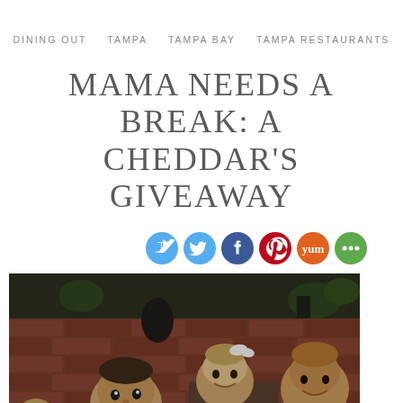DINING OUT   TAMPA   TAMPA BAY   TAMPA RESTAURANTS
MAMA NEEDS A BREAK: A CHEDDAR'S GIVEAWAY
[Figure (other): Social media sharing icons: Twitter (blue), Facebook (blue), Pinterest (red), Yummly (orange), and another sharing icon (green), displayed as circular buttons]
[Figure (photo): Photo of four children sitting at a restaurant booth/table with a brick wall in the background. The children are smiling at the camera. The restaurant has dim lighting and brick walls typical of Cheddar's restaurant decor.]